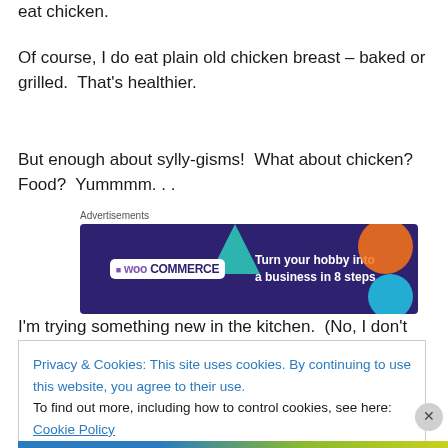eat chicken.
Of course, I do eat plain old chicken breast – baked or grilled.  That's healthier.
But enough about sylly-gisms!  What about chicken?  Food?  Yummmm. . .
[Figure (other): WooCommerce advertisement banner: dark purple background with geometric shapes (teal triangle, orange circle, blue circle), WooCommerce logo on left, text 'Turn your hobby into a business in 8 steps' on right.]
I'm trying something new in the kitchen.  (No, I don't mean
Privacy & Cookies: This site uses cookies. By continuing to use this website, you agree to their use.
To find out more, including how to control cookies, see here: Cookie Policy
Close and accept